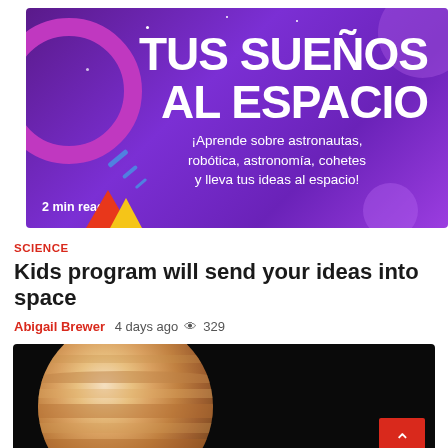[Figure (illustration): Purple space-themed banner with bold white text 'TUS SUEÑOS AL ESPACIO' and subtitle '¡Aprende sobre astronautas, robótica, astronomía, cohetes y lleva tus ideas al espacio!', showing '2 min read' in lower left, decorative meteors and circles]
SCIENCE
Kids program will send your ideas into space
Abigail Brewer  4 days ago  👁 329
[Figure (photo): Photo of Jupiter planet against black space background, with a red scroll-to-top button in the lower right corner]